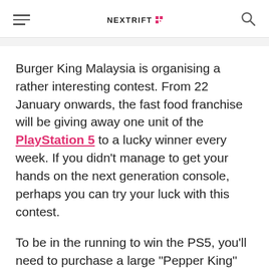NEXTRIFT [logo]
Burger King Malaysia is organising a rather interesting contest. From 22 January onwards, the fast food franchise will be giving away one unit of the PlayStation 5 to a lucky winner every week. If you didn't manage to get your hands on the next generation console, perhaps you can try your luck with this contest.
To be in the running to win the PS5, you'll need to purchase a large “Pepper King” set from Burger King. You will then need to take a upload a picture